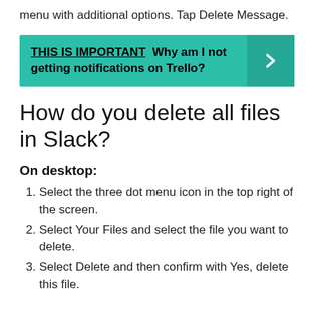menu with additional options. Tap Delete Message.
[Figure (infographic): Teal banner with 'THIS IS IMPORTANT Why am I not getting notifications on Trello?' and a right-arrow chevron on the right side.]
How do you delete all files in Slack?
On desktop:
Select the three dot menu icon in the top right of the screen.
Select Your Files and select the file you want to delete.
Select Delete and then confirm with Yes, delete this file.